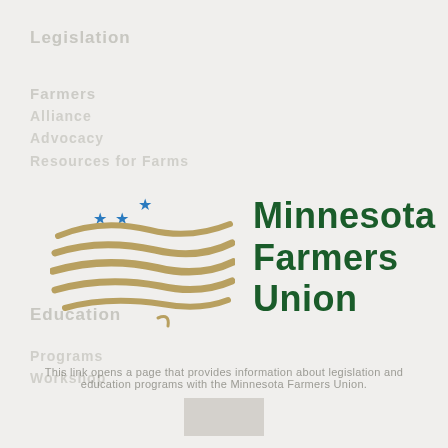[Figure (logo): Minnesota Farmers Union logo with stylized golden wave stripes resembling a flag and three blue stars, accompanied by dark green text reading 'Minnesota Farmers Union']
This link opens a page that provides information about legislation and education programs.